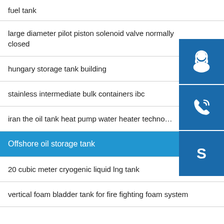fuel tank
large diameter pilot piston solenoid valve normally closed
hungary storage tank building
stainless intermediate bulk containers ibc
iran the oil tank heat pump water heater techno...
Offshore oil storage tank
20 cubic meter cryogenic liquid lng tank
vertical foam bladder tank for fire fighting foam system